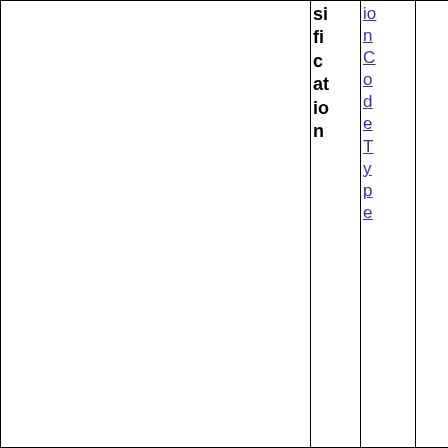| (empty) | Classification | ActionCodeType | (empty) |
| --- | --- | --- | --- |
|  | sification | ionCodeType |  |